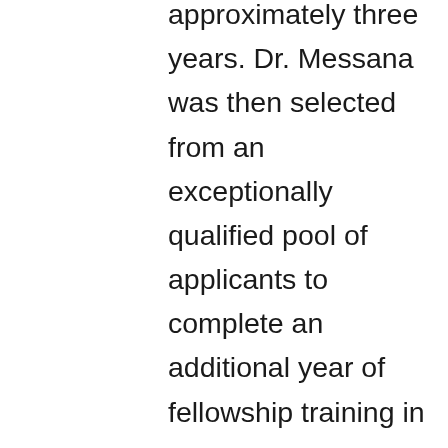approximately three years. Dr. Messana was then selected from an exceptionally qualified pool of applicants to complete an additional year of fellowship training in Mohs micrographic surgery and dermatologic oncology at the world-renowned Cleveland Clinic in Cleveland, Ohio. In addition to his expertise in the diagnosis and treatment of all diseases of the skin, hair, and nails, Dr. Messana has particular interest and expertise in the diagnosis and treatment of all forms of skin cancer and specializes in skin cancer surgery and reconstruction.